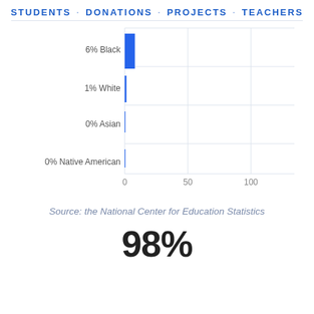STUDENTS · DONATIONS · PROJECTS · TEACHERS
[Figure (bar-chart): ]
Source: the National Center for Education Statistics
98%